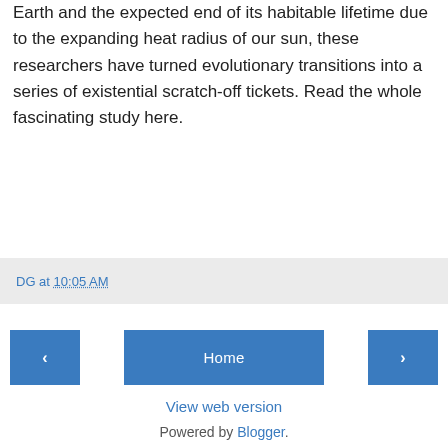Earth and the expected end of its habitable lifetime due to the expanding heat radius of our sun, these researchers have turned evolutionary transitions into a series of existential scratch-off tickets. Read the whole fascinating study here.
DG at 10:05 AM
‹
Home
›
View web version
Powered by Blogger.